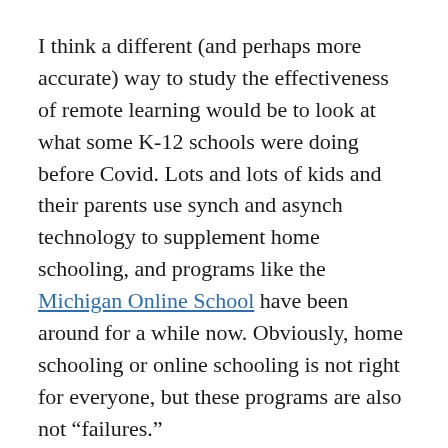I think a different (and perhaps more accurate) way to study the effectiveness of remote learning would be to look at what some K-12 schools were doing before Covid. Lots and lots of kids and their parents use synch and asynch technology to supplement home schooling, and programs like the Michigan Online School have been around for a while now. Obviously, home schooling or online schooling is not right for everyone, but these programs are also not “failures.”
Leonhardt goes on to argue that more schools that serve poor students and/or non-white students went remote for longer than schools. Leonhardt claims there were two reasons for